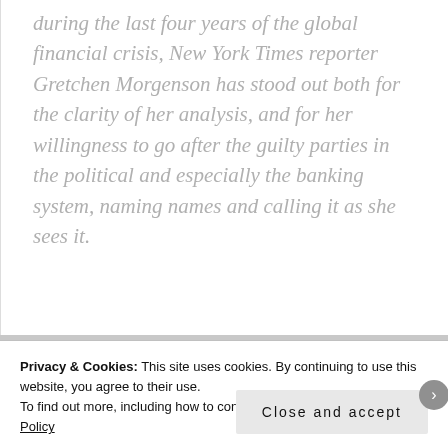during the last four years of the global financial crisis, New York Times reporter Gretchen Morgenson has stood out both for the clarity of her analysis, and for her willingness to go after the guilty parties in the political and especially the banking system, naming names and calling it as she sees it.
Privacy & Cookies: This site uses cookies. By continuing to use this website, you agree to their use. To find out more, including how to control cookies, see here: Cookie Policy
Close and accept